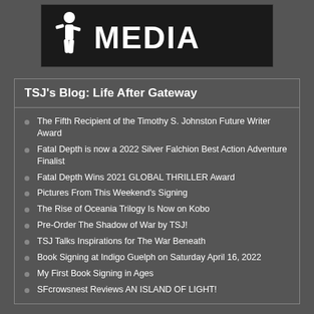[Figure (logo): TSJ Media logo — white figure silhouette and large white MEDIA text on black background]
TSJ's Blog: Life After Gateway
The Fifth Recipient of the Timothy S. Johnston Future Writer Award
Fatal Depth is now a 2022 Silver Falchion Best Action Adventure Finalist
Fatal Depth Wins 2021 GLOBAL THRILLER Award
Pictures From This Weekend's Signing
The Rise of Oceania Trilogy Is Now on Kobo
Pre-Order The Shadow of War by TSJ!
TSJ Talks Inspirations for The War Beneath
Book Signing at Indigo Guelph on Saturday April 16, 2022
My First Book Signing in Ages
SFcrowsnest Reviews AN ISLAND OF LIGHT!